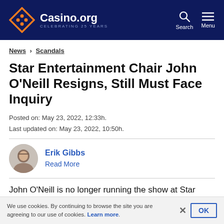Casino.org — CELEBRATING 25 YEARS
News > Scandals
Star Entertainment Chair John O'Neill Resigns, Still Must Face Inquiry
Posted on: May 23, 2022, 12:33h.
Last updated on: May 23, 2022, 10:50h.
Erik Gibbs
Read More
John O'Neill is no longer running the show at Star Entertainment. The casino operator's chairman of the board became acting CEO in April, but is stepping down as of
We use cookies. By continuing to browse the site you are agreeing to our use of cookies. Learn more.